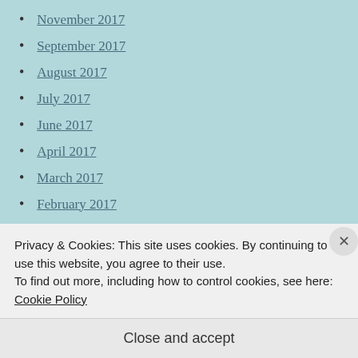November 2017
September 2017
August 2017
July 2017
June 2017
April 2017
March 2017
February 2017
December 2016
November 2016
October 2016
September 2016
Privacy & Cookies: This site uses cookies. By continuing to use this website, you agree to their use. To find out more, including how to control cookies, see here: Cookie Policy
Close and accept